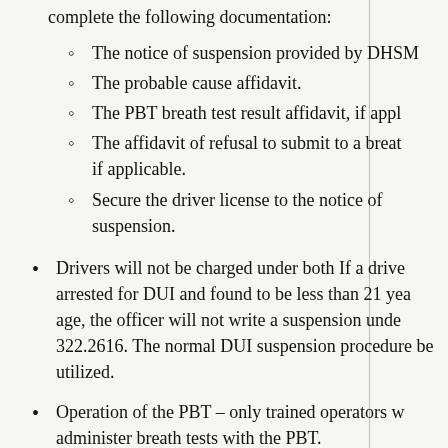complete the following documentation:
The notice of suspension provided by DHSM
The probable cause affidavit.
The PBT breath test result affidavit, if appl
The affidavit of refusal to submit to a breath, if applicable.
Secure the driver license to the notice of suspension.
Drivers will not be charged under both If a driver arrested for DUI and found to be less than 21 years of age, the officer will not write a suspension under 322.2616. The normal DUI suspension procedures will be utilized.
Operation of the PBT – only trained operators will administer breath tests with the PBT.
PBT operators will follow the manufacturer's